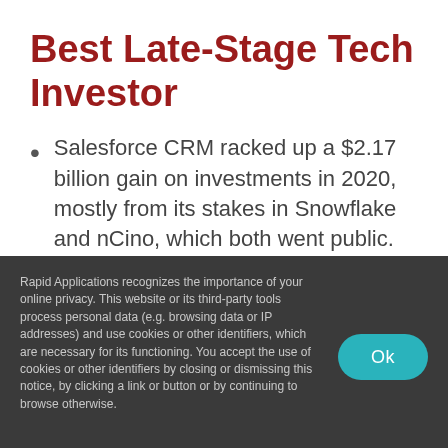Best Late-Stage Tech Investor
Salesforce CRM racked up a $2.17 billion gain on investments in 2020, mostly from its stakes in Snowflake and nCino, which both went public.
Rapid Applications recognizes the importance of your online privacy. This website or its third-party tools process personal data (e.g. browsing data or IP addresses) and use cookies or other identifiers, which are necessary for its functioning. You accept the use of cookies or other identifiers by closing or dismissing this notice, by clicking a link or button or by continuing to browse otherwise.